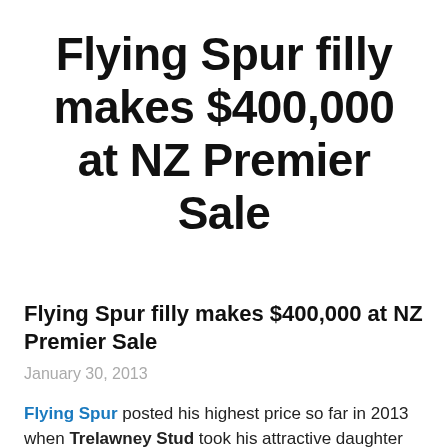Flying Spur filly makes $400,000 at NZ Premier Sale
Flying Spur filly makes $400,000 at NZ Premier Sale
January 30, 2013
Flying Spur posted his highest price so far in 2013 when Trelawney Stud took his attractive daughter from Stella